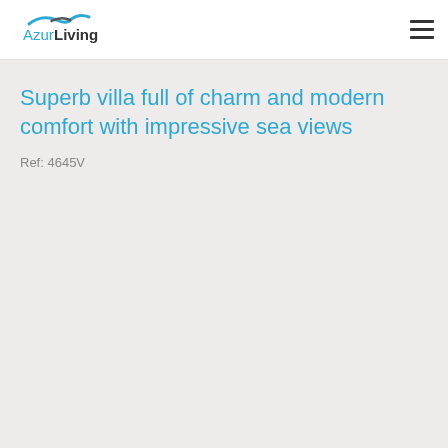AzurLiving
Superb villa full of charm and modern comfort with impressive sea views
Ref: 4645V